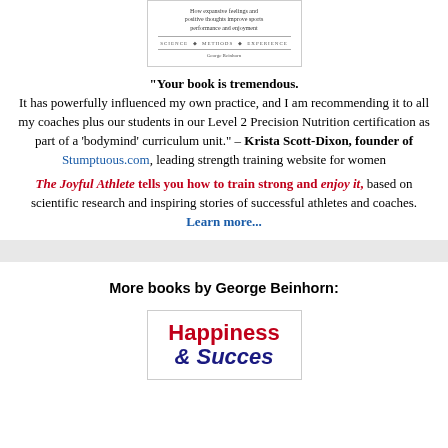[Figure (illustration): Book cover image showing subtitle text: 'How expansive feelings and positive thoughts improve sports performance and enjoyment', with 'SCIENCE · METHODS · EXPERIENCE' and 'George Beinhorn']
“Your book is tremendous. It has powerfully influenced my own practice, and I am recommending it to all my coaches plus our students in our Level 2 Precision Nutrition certification as part of a ‘bodymind’ curriculum unit.” – Krista Scott-Dixon, founder of Stumptuous.com, leading strength training website for women
The Joyful Athlete tells you how to train strong and enjoy it, based on scientific research and inspiring stories of successful athletes and coaches. Learn more...
More books by George Beinhorn:
[Figure (illustration): Partial book cover showing 'Happiness & Success' title in red and dark blue bold text]